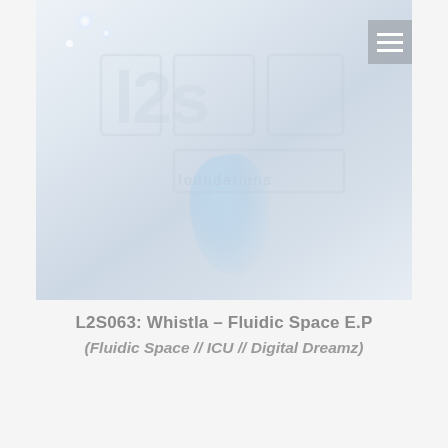[Figure (photo): Album art for L2S063 Whistla – Fluidic Space E.P. Light gray/white background with a faint logo (appears to show 'l2s' and 'foundations' text in white/light gray), lens flare effects with bright white dots and a blue-tinted light streak, and a hamburger/menu icon in the top right corner.]
L2S063: Whistla – Fluidic Space E.P
(Fluidic Space // ICU // Digital Dreamz)